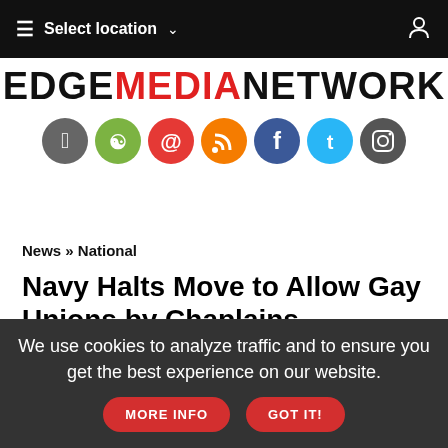≡ Select location ∨ [user icon]
[Figure (logo): EDGE MEDIA NETWORK logo in black and red text, followed by a row of social media icon circles (Apple, Android, Email, RSS, Facebook, Twitter, Instagram)]
News » National
Navy Halts Move to Allow Gay Unions by Chaplains
by Lolita C. Baldour
Associated Press
Wednesday May 11, 2011
We use cookies to analyze traffic and to ensure you get the best experience on our website.  MORE INFO   GOT IT!